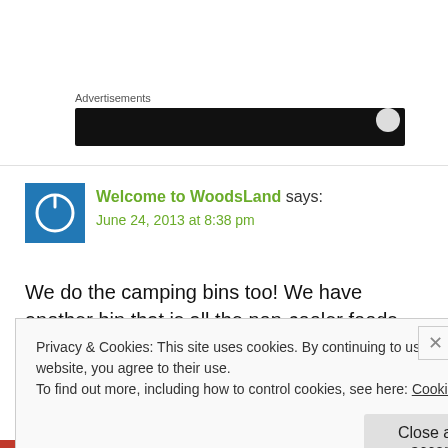Advertisements
[Figure (screenshot): Dark advertisement banner]
[Figure (illustration): Blue avatar with power button icon]
Welcome to WoodsLand says: June 24, 2013 at 8:38 pm
We do the camping bins too! We have another bin that is all the non-cooler foods too (referred to as the pantry bin). And I definitely make the first
Privacy & Cookies: This site uses cookies. By continuing to use this website, you agree to their use.
To find out more, including how to control cookies, see here: Cookie Policy
Close and accept